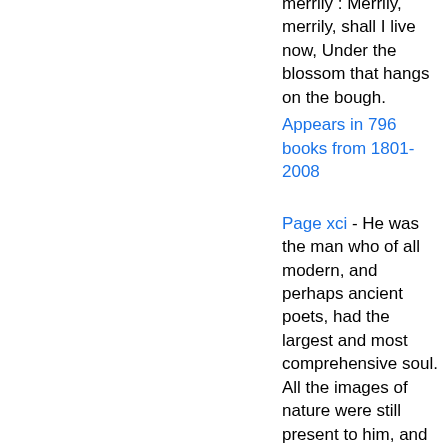merrily : Merrily, merrily, shall I live now, Under the blossom that hangs on the bough.
Appears in 796 books from 1801-2008
Page xci - He was the man who of all modern, and perhaps ancient poets, had the largest and most comprehensive soul. All the images of nature were still present to him, and he drew them not laboriously, but luckily: when he describes anything, you more than see it, you feel it too.
Appears in 364 books from 1800-2007